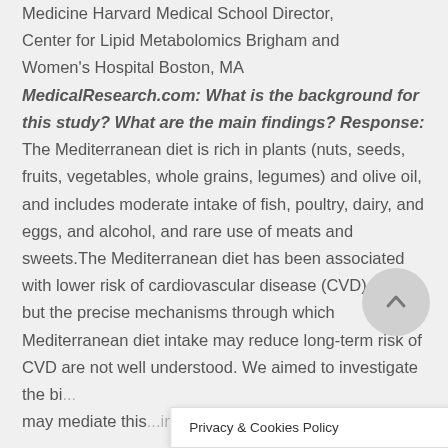Medicine Harvard Medical School Director, Center for Lipid Metabolomics Brigham and Women's Hospital Boston, MA MedicalResearch.com: What is the background for this study? What are the main findings? Response: The Mediterranean diet is rich in plants (nuts, seeds, fruits, vegetables, whole grains, legumes) and olive oil, and includes moderate intake of fish, poultry, dairy, and eggs, and alcohol, and rare use of meats and sweets.The Mediterranean diet has been associated with lower risk of cardiovascular disease (CVD) events but the precise mechanisms through which Mediterranean diet intake may reduce long-term risk of CVD are not well understood. We aimed to investigate the bi... may mediate this... ing